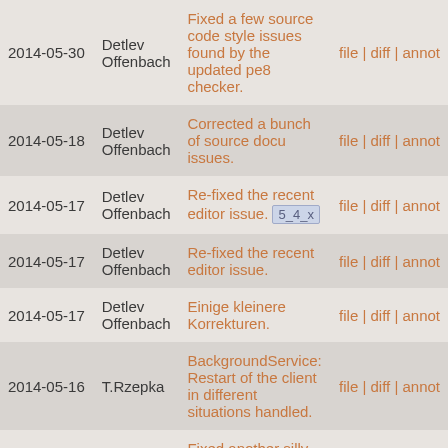| Date | Author | Message | Links |
| --- | --- | --- | --- |
| 2014-05-30 | Detlev Offenbach | Fixed a few source code style issues found by the updated pe8 checker. | file | diff | annot |
| 2014-05-18 | Detlev Offenbach | Corrected a bunch of source docu issues. | file | diff | annot |
| 2014-05-17 | Detlev Offenbach | Re-fixed the recent editor issue. [5_4_x] | file | diff | annot |
| 2014-05-17 | Detlev Offenbach | Re-fixed the recent editor issue. | file | diff | annot |
| 2014-05-17 | Detlev Offenbach | Einige kleinere Korrekturen. | file | diff | annot |
| 2014-05-16 | T.Rzepka | BackgroundService: Restart of the client in different situations handled. | file | diff | annot |
| 2014-05-15 | Detlev Offenbach | Fixed another silly issue in the editor. [5_4_x] | file | diff | annot |
| 2014-05-15 | Detlev Offenbach | Fixed another silly issue in the editor. | file | diff | annot |
| 2014-05-14 | Detlev | Fixed a silly issue in | file | diff | annot |